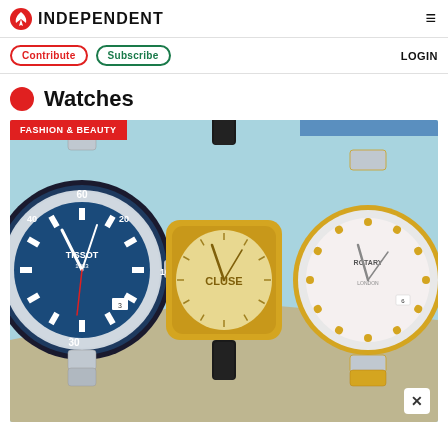INDEPENDENT
Contribute | Subscribe | LOGIN
Watches
[Figure (photo): Banner image showing three watches on a light blue and gold background with FASHION & BEAUTY tag: a Tissot Seastar diver watch with blue dial and metal bracelet, a Cluse gold-tone watch with champagne dial and black leather strap, and a Rotary two-tone gold and silver ladies watch with white mother-of-pearl dial.]